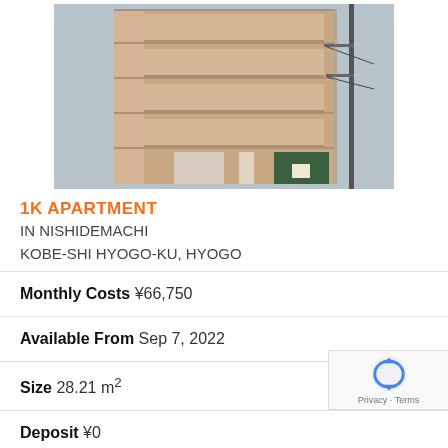[Figure (photo): Exterior photo of a multi-story apartment building with tan/beige facade, balconies, and a utility pole in front. Green shuttered storefront visible at ground level.]
1K APARTMENT IN NISHIDEMACHI KOBE-SHI HYOGO-KU, HYOGO
Monthly Costs ¥66,750
Available From Sep 7, 2022
Size 28.21 m²
Deposit ¥0
Key Money ¥0